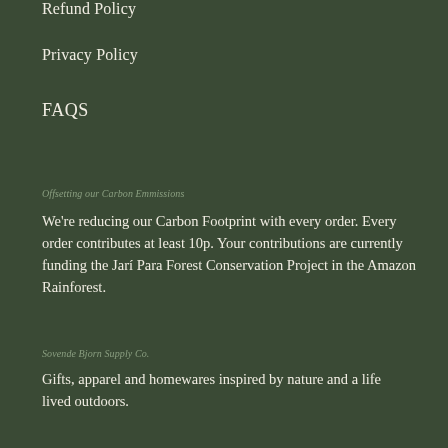Refund Policy
Privacy Policy
FAQS
Offsetting our Carbon Emmissions
We're reducing our Carbon Footprint with every order. Every order contributes at least 10p. Your contributions are currently funding the Jarí Para Forest Conservation Project in the Amazon Rainforest.
Sovende Bjorn Supply Co.
Gifts, apparel and homewares inspired by nature and a life lived outdoors.